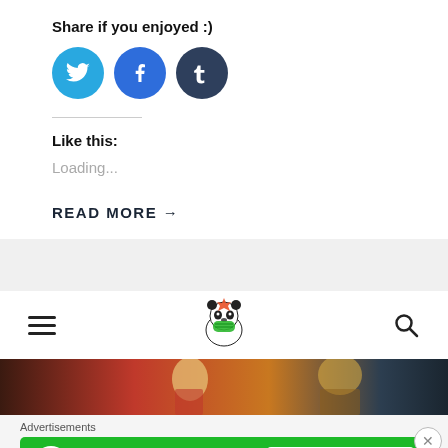Share if you enjoyed :)
[Figure (illustration): Three social media share buttons: Twitter (cyan circle with bird icon), Facebook (blue circle with f icon), Tumblr (dark blue circle with t icon)]
Like this:
Loading...
READ MORE →
[Figure (logo): Website navigation bar with hamburger menu, panda mascot logo, and search icon]
[Figure (photo): Anime-style banner image with characters]
Advertisements
[Figure (illustration): Jetpack advertisement banner with green background, Jetpack logo and 'Secure Your Site' button]